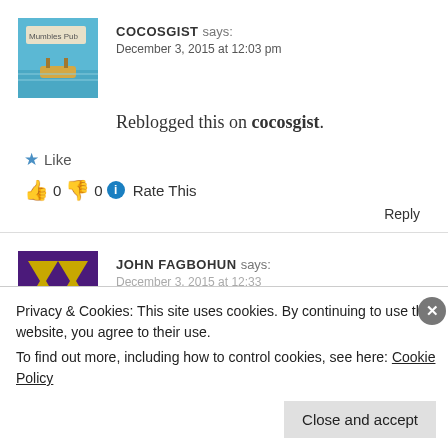[Figure (photo): Avatar photo of cocosgist showing a pool with a floating toy boat and signage reading Mumbles Pub]
COCOSGIST says:
December 3, 2015 at 12:03 pm
Reblogged this on cocosgist.
★ Like
👍 0 👎 0 ℹ Rate This
Reply
[Figure (logo): Avatar logo for John Fagbohun with purple and gold geometric design]
JOHN FAGBOHUN says:
December 3, 2015 at 12:33
Privacy & Cookies: This site uses cookies. By continuing to use this website, you agree to their use.
To find out more, including how to control cookies, see here: Cookie Policy
Close and accept